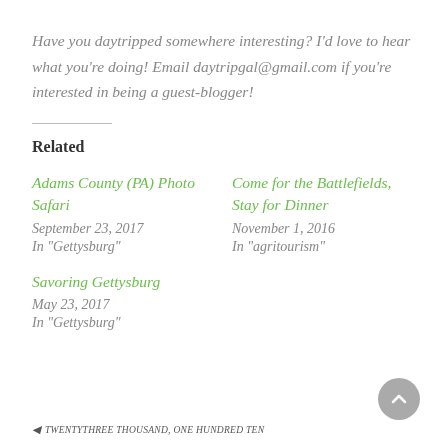Have you daytripped somewhere interesting? I'd love to hear what you're doing! Email daytripgal@gmail.com if you're interested in being a guest-blogger!
Related
Adams County (PA) Photo Safari
September 23, 2017
In "Gettysburg"
Come for the Battlefields, Stay for Dinner
November 1, 2016
In "agritourism"
Savoring Gettysburg
May 23, 2017
In "Gettysburg"
◀ TWENTYTHREE THOUSAND, ONE HUNDRED TEN